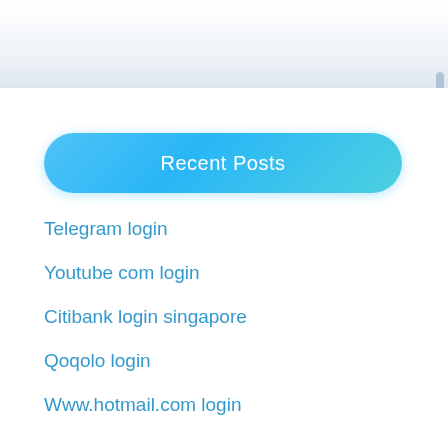Recent Posts
Telegram login
Youtube com login
Citibank login singapore
Qoqolo login
Www.hotmail.com login